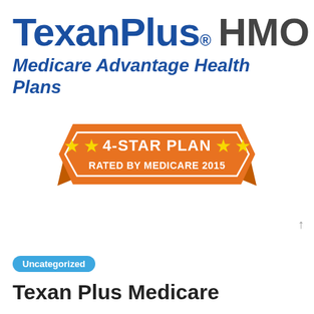TexanPlus® HMO
Medicare Advantage Health Plans
[Figure (infographic): Orange ribbon banner with yellow stars reading '4-STAR PLAN RATED BY MEDICARE 2015']
Uncategorized
Texan Plus Medicare